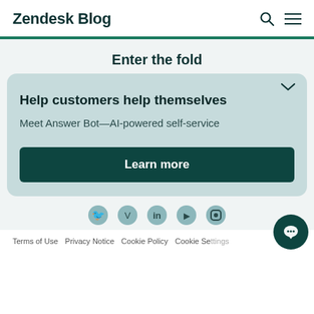Zendesk Blog
Enter the fold
Help customers help themselves
Meet Answer Bot—AI-powered self-service
Learn more
[Figure (illustration): Social media icons: Twitter, Vimeo, LinkedIn, YouTube, Instagram]
Terms of Use   Privacy Notice   Cookie Policy   Cookie Settings